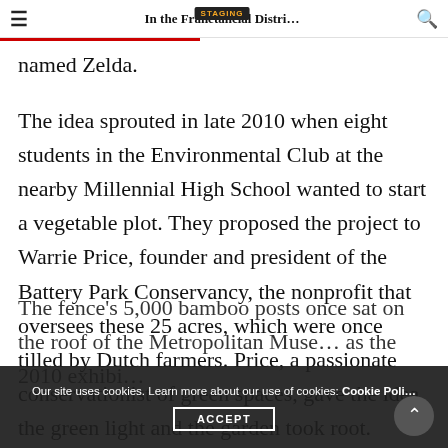In the Fran… (Financial) Distri… STAGING
named Zelda.
The idea sprouted in late 2010 when eight students in the Environmental Club at the nearby Millennial High School wanted to start a vegetable plot. They proposed the project to Warrie Price, founder and president of the Battery Park Conservancy, the nonprofit that oversees these 25 acres, which were once tilled by Dutch farmers. Price, a passionate conservationist of green spaces, gave the idea the green light and the garden took root.
The fence's 5,000 bamboo posts once sat on the roof of the Metropolitan Muse… as the 2010 exhibi…
Our site uses cookies. Learn more about our use of cookies: Cookie Poli… ACCEPT